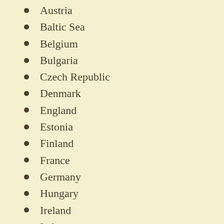Austria
Baltic Sea
Belgium
Bulgaria
Czech Republic
Denmark
England
Estonia
Finland
France
Germany
Hungary
Ireland
Italy
Netherlands
North Sea
Norway